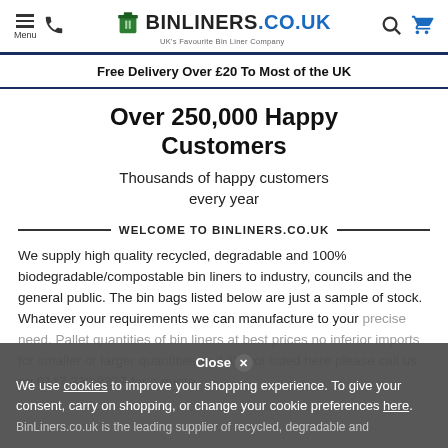BINLINERS.CO.UK — UK's Favourite Bin Liner Company — Navigation: Menu, Phone, Search, Cart
Free Delivery Over £20 To Most of the UK
Over 250,000 Happy Customers
Thousands of happy customers every year
WELCOME TO BINLINERS.CO.UK
We supply high quality recycled, degradable and 100% biodegradable/compostable bin liners to industry, councils and the general public. The bin bags listed below are just a sample of stock. Whatever your requirements we can manufacture to your precise need. Pallet quantities of bin liners at best prices no inferior imports for smaller or larger quantities or if it's not listed here please call us on 0117 330 2277 for a quote. BinLiners.co.uk is the leading supplier of recycled, degradable and
Close
We use cookies to improve your shopping experience. To give your consent, carry on shopping, or change your cookie preferences here.